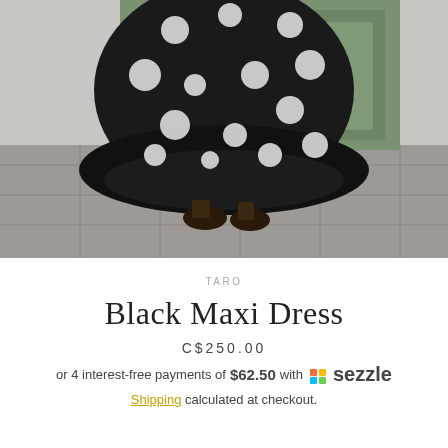[Figure (photo): A person wearing a black polka-dot maxi dress standing on a tiled floor next to a weathered green wooden door/cabinet, only the lower half of the body visible showing the dress hem and sandals.]
Taro
Black Maxi Dress
C$250.00
or 4 interest-free payments of $62.50 with sezzle
Shipping calculated at checkout.